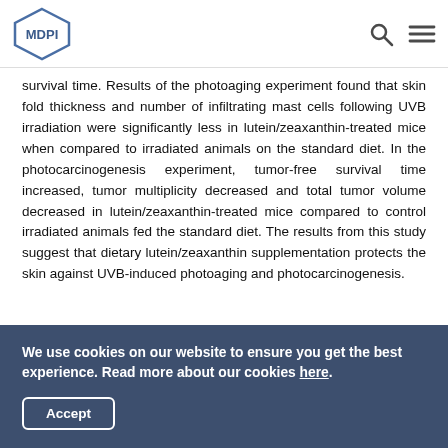MDPI [logo] [search icon] [menu icon]
survival time. Results of the photoaging experiment found that skin fold thickness and number of infiltrating mast cells following UVB irradiation were significantly less in lutein/zeaxanthin-treated mice when compared to irradiated animals on the standard diet. In the photocarcinogenesis experiment, tumor-free survival time increased, tumor multiplicity decreased and total tumor volume decreased in lutein/zeaxanthin-treated mice compared to control irradiated animals fed the standard diet. The results from this study suggest that dietary lutein/zeaxanthin supplementation protects the skin against UVB-induced photoaging and photocarcinogenesis.
5.4.4. In Vitro
We use cookies on our website to ensure you get the best experience. Read more about our cookies here.
Accept